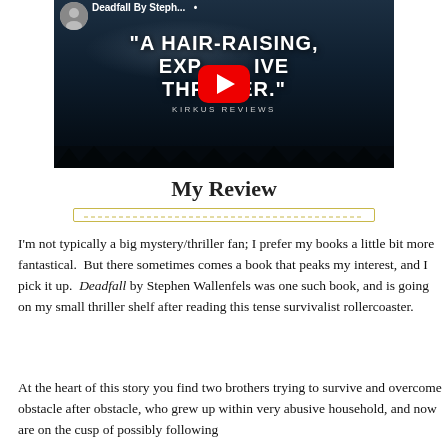[Figure (screenshot): YouTube video thumbnail showing text 'A HAIR-RAISING, EXPLOSIVE THRILLER.' with KIRKUS REVIEWS attribution, dark forest background with smoke/mist, YouTube play button overlay, and a small avatar with channel name 'Deadfall By Steph...' in the top bar.]
My Review
I'm not typically a big mystery/thriller fan; I prefer my books a little bit more fantastical.  But there sometimes comes a book that peaks my interest, and I pick it up.  Deadfall by Stephen Wallenfels was one such book, and is going on my small thriller shelf after reading this tense survivalist rollercoaster.
At the heart of this story you find two brothers trying to survive and overcome obstacle after obstacle, who grew up within very abusive household, and now are on the cusp of possibly following